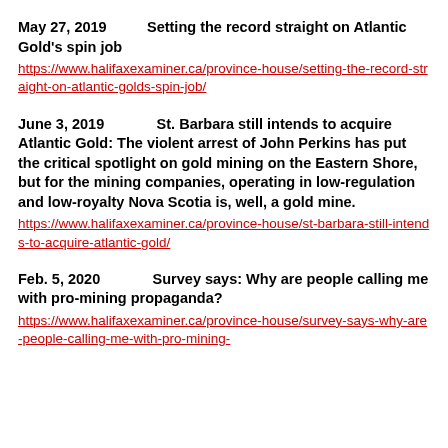May 27, 2019        Setting the record straight on Atlantic Gold's spin job
https://www.halifaxexaminer.ca/province-house/setting-the-record-straight-on-atlantic-golds-spin-job/
June 3, 2019          St. Barbara still intends to acquire Atlantic Gold: The violent arrest of John Perkins has put the critical spotlight on gold mining on the Eastern Shore, but for the mining companies, operating in low-regulation and low-royalty Nova Scotia is, well, a gold mine.
https://www.halifaxexaminer.ca/province-house/st-barbara-still-intends-to-acquire-atlantic-gold/
Feb. 5, 2020          Survey says: Why are people calling me with pro-mining propaganda?
https://www.halifaxexaminer.ca/province-house/survey-says-why-are-people-calling-me-with-pro-mining-